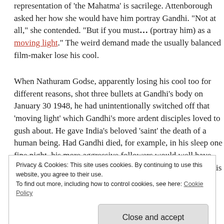representation of 'the Mahatma' is sacrilege. Attenborough asked her how she would have him portray Gandhi. "Not at all," she contended. "But if you must… (portray him) as a moving light." The weird demand made the usually balanced film-maker lose his cool.
When Nathuram Godse, apparently losing his cool too for different reasons, shot three bullets at Gandhi's body on January 30 1948, he had unintentionally switched off that 'moving light' which Gandhi's more ardent disciples loved to gush about. He gave India's beloved 'saint' the death of a human being. Had Gandhi died, for example, in his sleep one fine night, his more aggressive followers would well have gone public with 'visions of his great spirit floating out of his
Privacy & Cookies: This site uses cookies. By continuing to use this website, you agree to their use.
To find out more, including how to control cookies, see here: Cookie Policy
most common causes of death in India then). Instead,